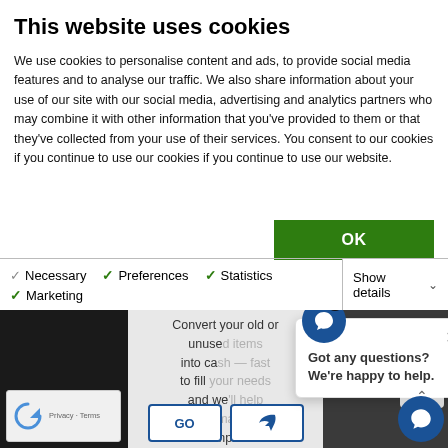This website uses cookies
We use cookies to personalise content and ads, to provide social media features and to analyse our traffic. We also share information about your use of our site with our social media, advertising and analytics partners who may combine it with other information that you've provided to them or that they've collected from your use of their services. You consent to our cookies if you continue to use our website.
OK
Necessary  Preferences  Statistics  Marketing  Show details
[Figure (screenshot): Background webpage with cookie consent checkboxes overlay showing Necessary (grey check), Preferences (green check), Statistics (green check), Marketing (green check), and Show details with dropdown arrow. Below is a partially visible webpage with dark background, a text overlay about converting old unused items into cash, a reCAPTCHA widget, a chat popup saying 'Got any questions? We're happy to help.' with close buttons, GO buttons, and a blue chat bubble in the bottom right corner.]